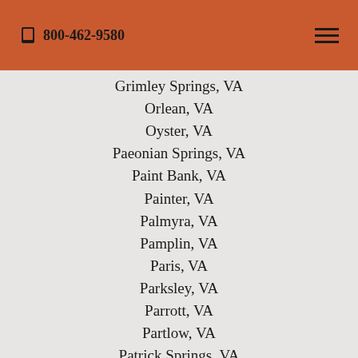📞 800-462-9580
Grimley Springs, VA
Orlean, VA
Oyster, VA
Paeonian Springs, VA
Paint Bank, VA
Painter, VA
Palmyra, VA
Pamplin, VA
Paris, VA
Parksley, VA
Parrott, VA
Partlow, VA
Patrick Springs, VA
Pearisburg, VA
Pembroke, VA
Penhook, VA
Penn Laird, VA
Pennington Gap, VA